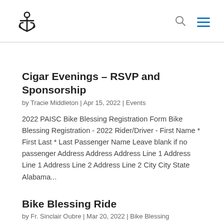[Anchor logo] [Search icon] [Hamburger menu]
Cigar Evenings – RSVP and Sponsorship
by Tracie Middleton | Apr 15, 2022 | Events
2022 PAISC Bike Blessing Registration Form Bike Blessing Registration - 2022 Rider/Driver - First Name * First Last * Last Passenger Name Leave blank if no passenger Address Address Address Line 1 Address Line 1 Address Line 2 Address Line 2 City City State Alabama...
Bike Blessing Ride
by Fr. Sinclair Oubre | Mar 20, 2022 | Bike Blessing